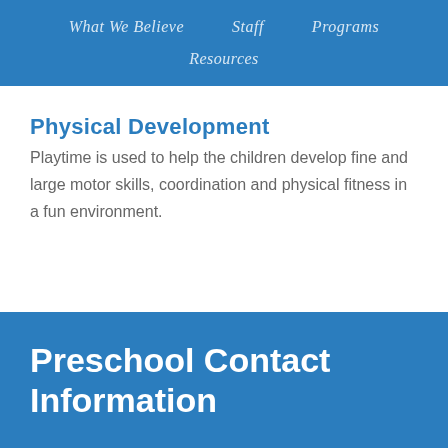What We Believe   Staff   Programs   Resources
Physical Development
Playtime is used to help the children develop fine and large motor skills, coordination and physical fitness in a fun environment.
Preschool Contact Information